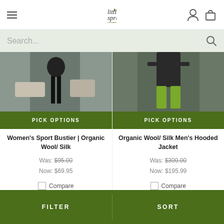Little Spruce Organics — navigation header with hamburger menu, logo, account icon, and cart icon
Search...
[Figure (photo): Product photo of Women's Sport Bustier showing a person in black leggings near rocks and water]
PICK OPTIONS
Women's Sport Bustier | Organic Wool/ Silk
Was: $95.00
Now: $69.95
Compare
[Figure (photo): Product photo of Organic Wool Silk Men's Hooded Jacket showing a person outdoors wearing a dark jacket with green shorts]
PICK OPTIONS
Organic Wool/ Silk Men's Hooded Jacket
Was: $300.00
Now: $195.99
Compare
FILTER   SORT